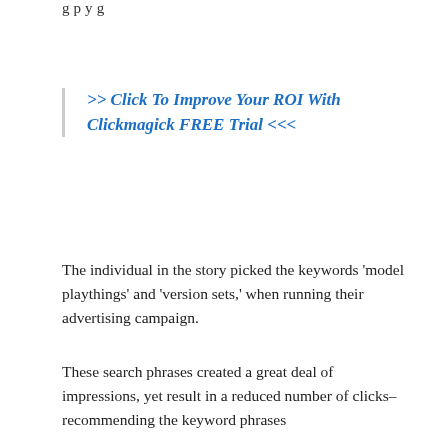g p y g
>> Click To Improve Your ROI With Clickmagick FREE Trial <<<
The individual in the story picked the keywords 'model playthings' and 'version sets,' when running their advertising campaign.
These search phrases created a great deal of impressions, yet result in a reduced number of clicks– recommending the keyword phrases